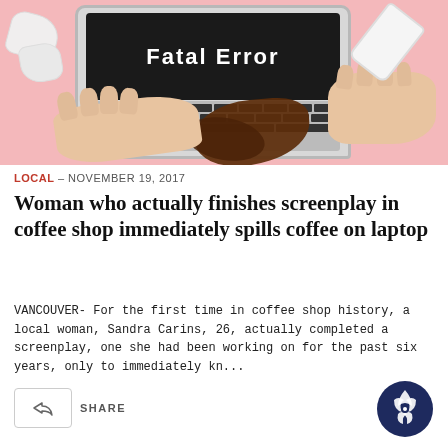[Figure (photo): Photo of a laptop showing 'Fatal Error' on screen, with hands on keyboard and coffee spilling on the laptop, set against a pink background with crumpled paper nearby.]
LOCAL – NOVEMBER 19, 2017
Woman who actually finishes screenplay in coffee shop immediately spills coffee on laptop
VANCOUVER- For the first time in coffee shop history, a local woman, Sandra Carins, 26, actually completed a screenplay, one she had been working on for the past six years, only to immediately kn...
SHARE